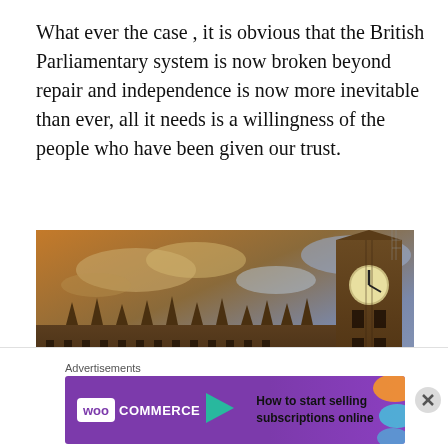What ever the case , it is obvious that the British Parliamentary system is now broken beyond repair and independence is now more inevitable than ever, all it needs is a willingness of the people who have been given our trust.
[Figure (photo): Dramatic low-angle photograph of the Houses of Parliament and Big Ben (Elizabeth Tower) under a stormy golden-lit sky, London.]
Advertisements
[Figure (other): WooCommerce advertisement banner: purple background with WooCommerce logo on left and text 'How to start selling subscriptions online' on right with orange decorative shapes.]